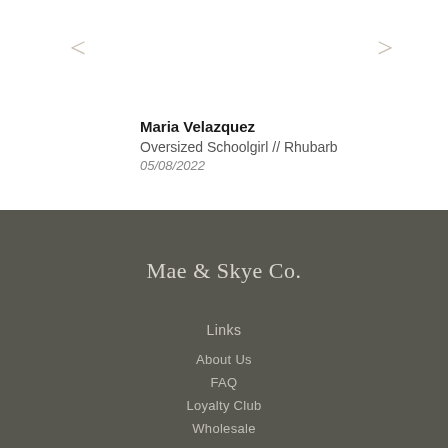<
>
Maria Velazquez
Oversized Schoolgirl // Rhubarb
05/08/2022
Mae & Skye Co.
Links
About Us
FAQ
Loyalty Club
Wholesale